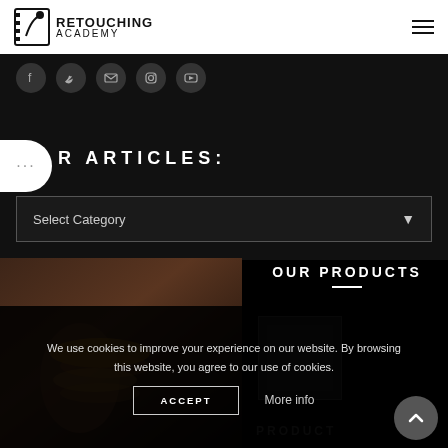Retouching Academy
[Figure (screenshot): Social media icons: Facebook, Twitter, Email, Instagram, YouTube on dark bar]
R ARTICLES:
Select Category
OUR PRODUCTS
[Figure (photo): Dark photo showing person with bracelets/rings on hand]
We use cookies to improve your experience on our website. By browsing this website, you agree to our use of cookies.
ACCEPT
More info